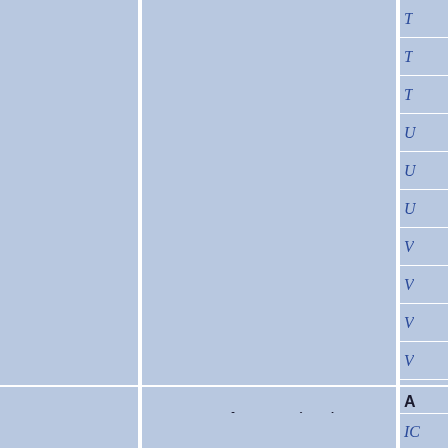|  |  | Gene/Allele |
| --- | --- | --- |
|  |  | T... |
|  |  | T... |
|  |  | T... |
|  |  | U... |
|  |  | U... |
|  |  | U... |
|  |  | V... |
|  |  | V... |
|  |  | V... |
|  |  | V... |
|  |  | Z... |
|  | Other mutations in Syt17 | A... |
|  |  | IC... |
|  |  | IC... |
|  |  | IC... |
|  |  | K... |